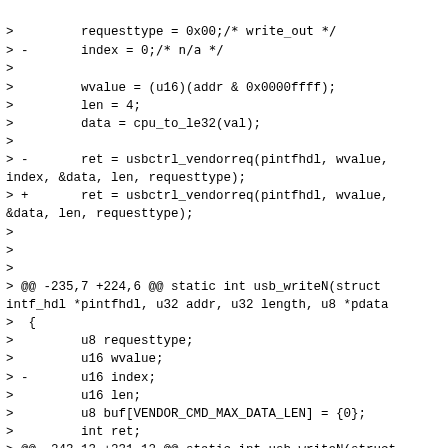>         requesttype = 0x00;/* write_out */
> -       index = 0;/* n/a */
>
>         wvalue = (u16)(addr & 0x0000ffff);
>         len = 4;
>         data = cpu_to_le32(val);
>
> -       ret = usbctrl_vendorreq(pintfhdl, wvalue,
index, &data, len, requesttype);
> +       ret = usbctrl_vendorreq(pintfhdl, wvalue,
&data, len, requesttype);
>
>
>
> @@ -235,7 +224,6 @@ static int usb_writeN(struct
intf_hdl *pintfhdl, u32 addr, u32 length, u8 *pdata
>  {
>         u8 requesttype;
>         u16 wvalue;
> -       u16 index;
>         u16 len;
>         u8 buf[VENDOR_CMD_MAX_DATA_LEN] = {0};
>         int ret;
> @@ -243,13 +231,12 @@ static int usb_writeN(struct
intf_hdl *pintfhdl, u32 addr, u32 length, u8 *pdata
>
>
>         requesttype = 0x00;/* write_out */
> -       index = 0;/* n/a */
>